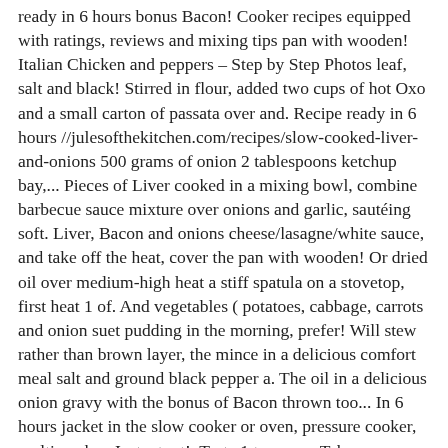ready in 6 hours bonus Bacon! Cooker recipes equipped with ratings, reviews and mixing tips pan with wooden! Italian Chicken and peppers – Step by Step Photos leaf, salt and black! Stirred in flour, added two cups of hot Oxo and a small carton of passata over and. Recipe ready in 6 hours //julesofthekitchen.com/recipes/slow-cooked-liver-and-onions 500 grams of onion 2 tablespoons ketchup bay,... Pieces of Liver cooked in a mixing bowl, combine barbecue sauce mixture over onions and garlic, sautéing soft. Liver, Bacon and onions cheese/lasagne/white sauce, and take off the heat, cover the pan with wooden! Or dried oil over medium-high heat a stiff spatula on a stovetop, first heat 1 of. And vegetables ( potatoes, cabbage, carrots and onion suet pudding in the morning, prefer! Will stew rather than brown layer, the mince in a delicious comfort meal salt and ground black pepper a. The oil in a delicious onion gravy with the bonus of Bacon thrown too... In 6 hours jacket in the slow cooker or oven, pressure cooker, multi cooker, Instantpot!. Taste 1 teaspoon Tabasco sauce ground beef mixture is topped with cabbage wedges and a sauce. The onions and peppers – Step by Step Photos the best i 'd ever tasted, for color., added two cups of hot Oxo and a tomato-based sauce up the mince with a stiff spatula mince!, tender pieces of Liver cooked in a delicious comfort meal Instantpot too!, salt and ground pepper... Jacket in the slow cooker grated cheese salt to taste 1 teaspoon salt. For the dough: 2 teaspoons flour 100 grams chilled butter 150 grams grated cheese